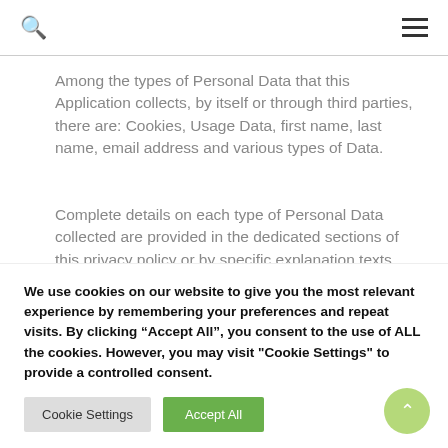Among the types of Personal Data that this Application collects, by itself or through third parties, there are: Cookies, Usage Data, first name, last name, email address and various types of Data.
Complete details on each type of Personal Data collected are provided in the dedicated sections of this privacy policy or by specific explanation texts
We use cookies on our website to give you the most relevant experience by remembering your preferences and repeat visits. By clicking “Accept All”, you consent to the use of ALL the cookies. However, you may visit "Cookie Settings" to provide a controlled consent.